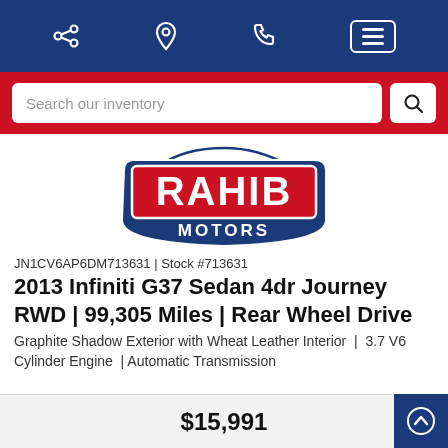Navigation bar with share, location, phone, and menu icons
Search our inventory
[Figure (logo): Rahib Motors logo — red RAHIB text with blue shield shape and MOTORS text below, car silhouette outline above]
JN1CV6AP6DM713631 | Stock #713631
2013 Infiniti G37 Sedan 4dr Journey RWD | 99,305 Miles | Rear Wheel Drive
Graphite Shadow Exterior with Wheat Leather Interior  |  3.7 V6 Cylinder Engine  | Automatic Transmission
$15,991